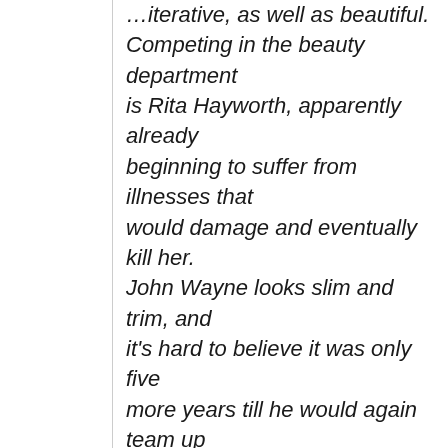…iterative, as well as beautiful. Competing in the beauty department is Rita Hayworth, apparently already beginning to suffer from illnesses that would damage and eventually kill her. John Wayne looks slim and trim, and it’s hard to believe it was only five more years till he would again team up with director Henry Hathaway for “True Grit” in which he would play the over-weight drunk Rooster Cogburn. John Smith needed a better director, and I wonder if Hathaway too was already beginning to show the ravages